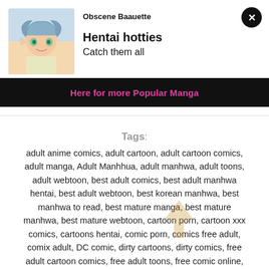Obscene Baauette
Hentai hotties
Catch them all
Here for more Popular Manga
Tags:
adult anime comics, adult cartoon, adult cartoon comics, adult manga, Adult Manhhua, adult manhwa, adult toons, adult webtoon, best adult comics, best adult manhwa hentai, best adult webtoon, best korean manhwa, best manhwa to read, best mature manga, best mature manhwa, best mature webtoon, cartoon porn, cartoon xxx comics, cartoons hentai, comic porn, comics free adult, comix adult, DC comic, dirty cartoons, dirty comics, free adult cartoon comics, free adult toons, free comic online, free dc comic, free full lezhin, free full toomics, free full